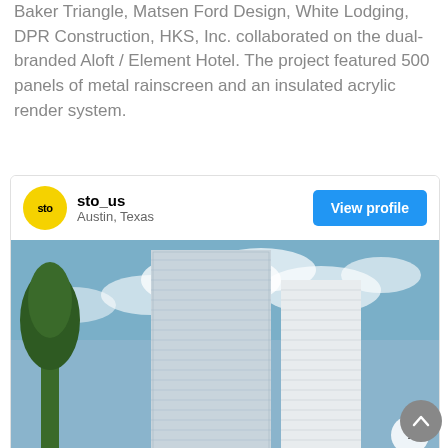Baker Triangle, Matsen Ford Design, White Lodging, DPR Construction, HKS, Inc. collaborated on the dual-branded Aloft / Element Hotel. The project featured 500 panels of metal rainscreen and an insulated acrylic render system.
[Figure (screenshot): Social media profile card for sto_us (Austin, Texas) showing a tall modern hotel building with glass and white metal panel facade against a blue sky. Card includes a yellow STO logo, profile name, location, and a blue 'View profile' button.]